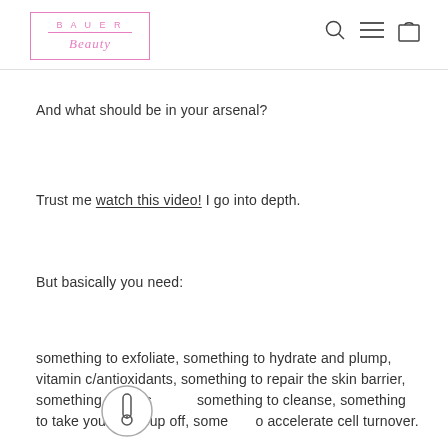BAUER Beauty
And what should be in your arsenal?
Trust me watch this video! I go into depth.
But basically you need:
something to exfoliate, something to hydrate and plump, vitamin c/antioxidants, something to repair the skin barrier, something to moisturise, something to cleanse, something to take your makeup off, something to accelerate cell turnover.